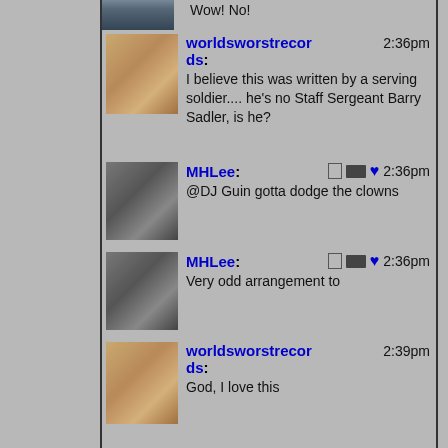Wow! No!
worldsworstrecords: 2:36pm — I believe this was written by a serving soldier.... he's no Staff Sergeant Barry Sadler, is he?
MHLee: 2:36pm — @DJ Guin gotta dodge the clowns
MHLee: 2:36pm — Very odd arrangement to
worldsworstrecords: 2:39pm — God, I love this
Beany: 2:41pm — I nicked her Christmas song
Domenic: 2:41pm — Peddling thru the Usha Uthup... this one is so bad its bad. LOL
worldsworstrecords: 2:42pm — This whole album is brilliantly nuts